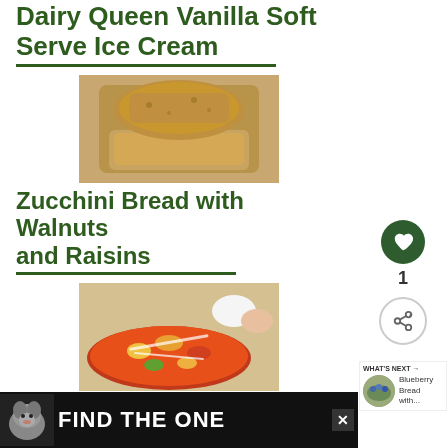Dairy Queen Vanilla Soft Serve Ice Cream
[Figure (photo): Sliced zucchini bread loaf on a white surface]
Zucchini Bread with Walnuts and Raisins
[Figure (photo): Boboli pizza with colorful toppings, cheese, vegetables, with dipping sauces in background]
Boboli Pizza
[Figure (photo): Blueberry Bread thumbnail for What's Next section]
WHAT'S NEXT → Blueberry Bread with...
[Figure (advertisement): Find The One pet adoption advertisement with dog image]